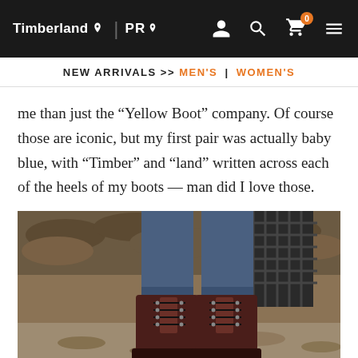Timberland | PRO — navigation header with icons
NEW ARRIVALS >> MEN'S | WOMEN'S
me than just the “Yellow Boot” company. Of course those are iconic, but my first pair was actually baby blue, with “Timber” and “land” written across each of the heels of my boots — man did I love those.
[Figure (photo): Close-up photo of a person wearing dark burgundy/brown lace-up leather Timberland boots with cuffed blue jeans, standing on ground with wood logs and debris in background.]